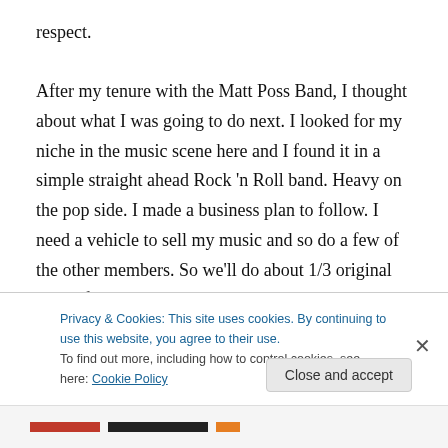respect.

After my tenure with the Matt Poss Band, I thought about what I was going to do next. I looked for my niche in the music scene here and I found it in a simple straight ahead Rock 'n Roll band. Heavy on the pop side. I made a business plan to follow. I need a vehicle to sell my music and so do a few of the other members. So we'll do about 1/3 original music from our upcoming album and the rest covers until we build our following and can slip more original music. My eye is making this a concert act, not a
Privacy & Cookies: This site uses cookies. By continuing to use this website, you agree to their use.
To find out more, including how to control cookies, see here: Cookie Policy
Close and accept